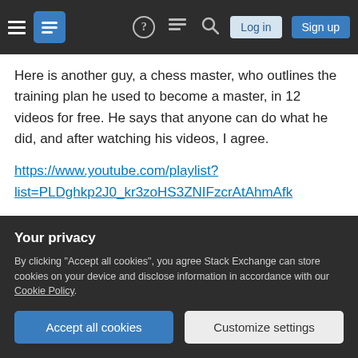Stack Exchange navigation bar with hamburger menu, logo, help, chat, search icons, Log in and Sign up buttons
Here is another guy, a chess master, who outlines the training plan he used to become a master, in 12 videos for free. He says that anyone can do what he did, and after watching his videos, I agree.
https://www.youtube.com/playlist?list=PLDghkp2J0_kr3zoHS3ZNIFzcrAtAhmAfk
Hiring a good coach can accelerate your success if you use him the right way. If your goal is rapid improvement, use the coach in ways that accelerate your training plan. For instance, have the coach
Your privacy
By clicking "Accept all cookies", you agree Stack Exchange can store cookies on your device and disclose information in accordance with our Cookie Policy.
Accept all cookies
Customize settings
who have done this and repeat what they did. Use a